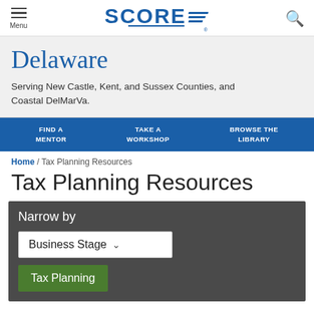Menu | SCORE | Search
Delaware
Serving New Castle, Kent, and Sussex Counties, and Coastal DelMarVa.
FIND A MENTOR | TAKE A WORKSHOP | BROWSE THE LIBRARY
Home / Tax Planning Resources
Tax Planning Resources
Narrow by
Business Stage
Tax Planning